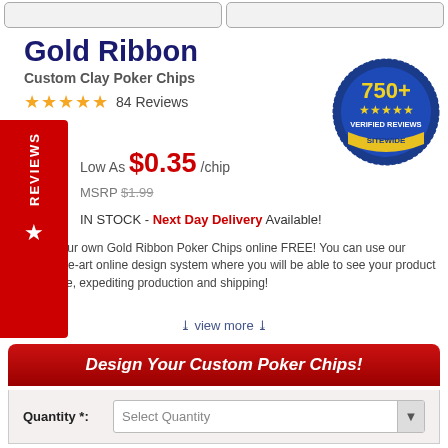[Figure (photo): Two product thumbnail images of poker chips in boxes at the top of the page]
Gold Ribbon
Custom Clay Poker Chips
84 Reviews
[Figure (logo): 750+ Verified Reviews Sitewide badge — blue circular seal with gold stars and yellow text]
Low As $0.35 /chip
MSRP $1.99
IN STOCK - Next Day Delivery Available!
Design your own Gold Ribbon Poker Chips online FREE! You can use our state-of-the-art online design system where you will be able to see your product in real time, expediting production and shipping!
view more
Design Your Custom Poker Chips!
Quantity *:  Select Quantity